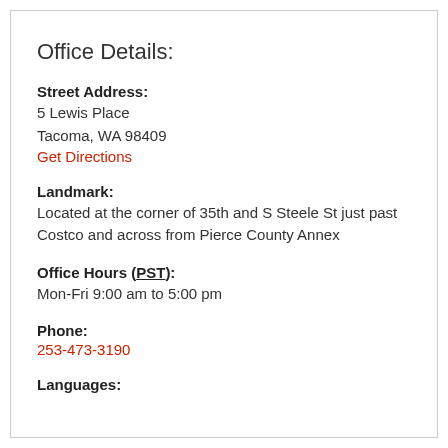Office Details:
Street Address:
5 Lewis Place
Tacoma, WA 98409
Get Directions
Landmark:
Located at the corner of 35th and S Steele St just past Costco and across from Pierce County Annex
Office Hours (PST):
Mon-Fri 9:00 am to 5:00 pm
Phone:
253-473-3190
Languages: